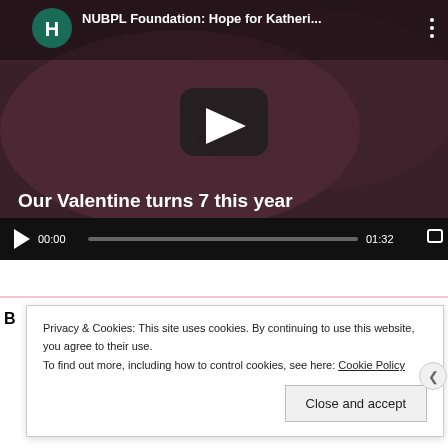[Figure (screenshot): YouTube video player screenshot showing 'NUBPL Foundation: Hope for Katheri...' with green channel icon showing letter H, play button overlay, subtitle text 'Our Valentine turns 7 this year', and video controls showing 00:00 / 01:32]
Privacy & Cookies: This site uses cookies. By continuing to use this website, you agree to their use.
To find out more, including how to control cookies, see here: Cookie Policy
Close and accept